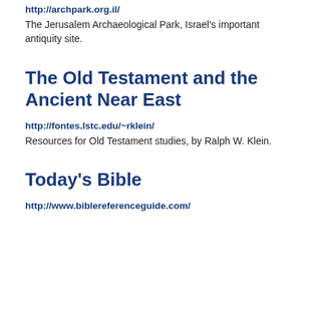http://archpark.org.il/
The Jerusalem Archaeological Park, Israel's important antiquity site.
The Old Testament and the Ancient Near East
http://fontes.lstc.edu/~rklein/
Resources for Old Testament studies, by Ralph W. Klein.
Today's Bible
http://www.biblereferenceguide.com/